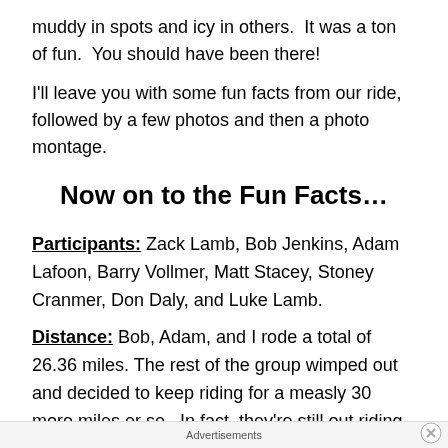muddy in spots and icy in others.  It was a ton of fun.  You should have been there!
I'll leave you with some fun facts from our ride, followed by a few photos and then a photo montage.
Now on to the Fun Facts…
Participants: Zack Lamb, Bob Jenkins, Adam Lafoon, Barry Vollmer, Matt Stacey, Stoney Cranmer, Don Daly, and Luke Lamb.
Distance: Bob, Adam, and I rode a total of 26.36 miles. The rest of the group wimped out and decided to keep riding for a measly 30 more miles or so.  In fact, they're still out riding as I type this.  What a bunch of cream puffs!
Advertisements